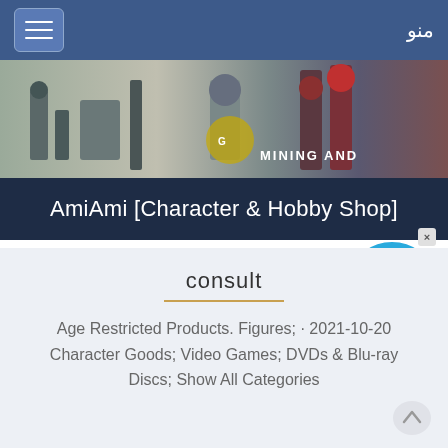منو
[Figure (screenshot): Industrial/mining facility banner image showing MINING AND text]
AmiAmi [Character & Hobby Shop]
[Figure (illustration): Live Chat speech bubble icon with X close button]
consult
Age Restricted Products. Figures; · 2021-10-20 Character Goods; Video Games; DVDs & Blu-ray Discs; Show All Categories